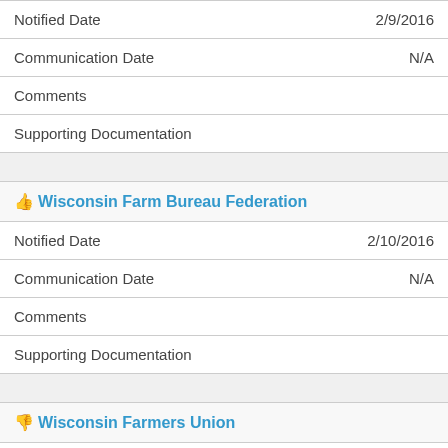| Notified Date | 2/9/2016 |
| Communication Date | N/A |
| Comments |  |
| Supporting Documentation |  |
|  |  |
| 👍 Wisconsin Farm Bureau Federation |  |
| Notified Date | 2/10/2016 |
| Communication Date | N/A |
| Comments |  |
| Supporting Documentation |  |
|  |  |
| 👎 Wisconsin Farmers Union |  |